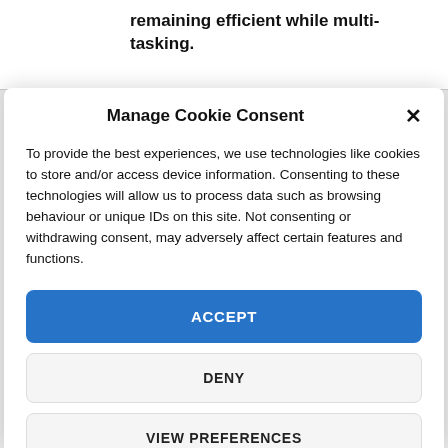remaining efficient while multi-tasking.
Manage Cookie Consent
To provide the best experiences, we use technologies like cookies to store and/or access device information. Consenting to these technologies will allow us to process data such as browsing behaviour or unique IDs on this site. Not consenting or withdrawing consent, may adversely affect certain features and functions.
ACCEPT
DENY
VIEW PREFERENCES
SAVE PREFERENCES